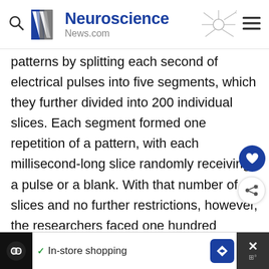Neuroscience News.com
patterns by splitting each second of electrical pulses into five segments, which they further divided into 200 individual slices. Each segment formed one repetition of a pattern, with each millisecond-long slice randomly receiving a pulse or a blank. With that number of slices and no further restrictions, however, the researchers faced one hundred quindecillion possible patterns. (That’s a 1 with 50 zeroes after it — far too many to test experimentally in
In-store shopping